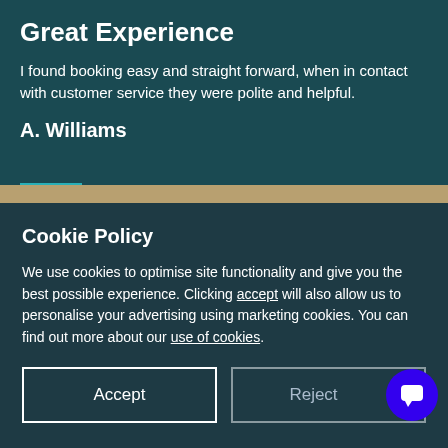Great Experience
I found booking easy and straight forward, when in contact with customer service they were polite and helpful.
A. Williams
Cookie Policy
We use cookies to optimise site functionality and give you the best possible experience. Clicking accept will also allow us to personalise your advertising using marketing cookies. You can find out more about our use of cookies.